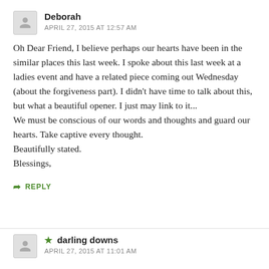Deborah
APRIL 27, 2015 AT 12:57 AM
Oh Dear Friend, I believe perhaps our hearts have been in the similar places this last week. I spoke about this last week at a ladies event and have a related piece coming out Wednesday (about the forgiveness part). I didn't have time to talk about this, but what a beautiful opener. I just may link to it...
We must be conscious of our words and thoughts and guard our hearts. Take captive every thought.
Beautifully stated.
Blessings,
REPLY
★ darling downs
APRIL 27, 2015 AT 11:01 AM